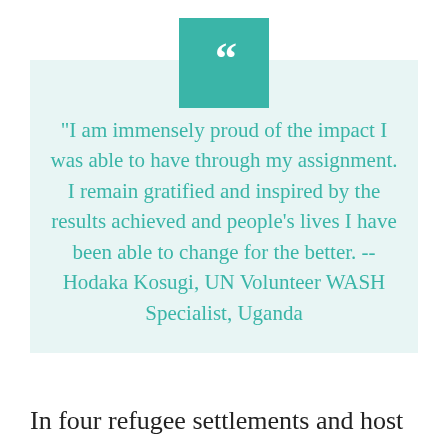[Figure (illustration): Teal square with large white opening double quotation marks icon centered at top of page]
"I am immensely proud of the impact I was able to have through my assignment. I remain gratified and inspired by the results achieved and people's lives I have been able to change for the better. --Hodaka Kosugi, UN Volunteer WASH Specialist, Uganda
In four refugee settlements and host